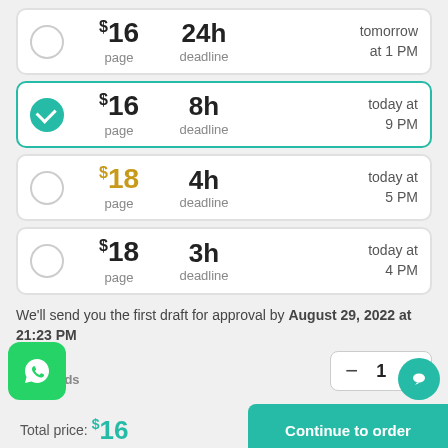$16 / page | 24h deadline | tomorrow at 1 PM
$16 / page | 8h deadline | today at 9 PM (selected)
$18 / page | 4h deadline | today at 5 PM
$18 / page | 3h deadline | today at 4 PM
We'll send you the first draft for approval by August 29, 2022 at 21:23 PM
Pages:
275 words
Total price: $16
Continue to order